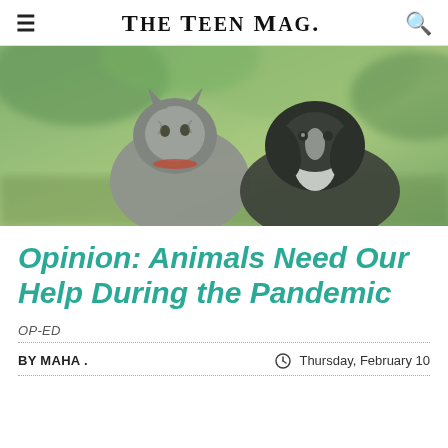THE TEEN MAG.
[Figure (photo): Two pets — a fluffy grey cat and a black-and-white dog — sitting together outdoors with blurred green foliage in the background.]
Opinion: Animals Need Our Help During the Pandemic
OP-ED
BY MAHA .
Thursday, February 10